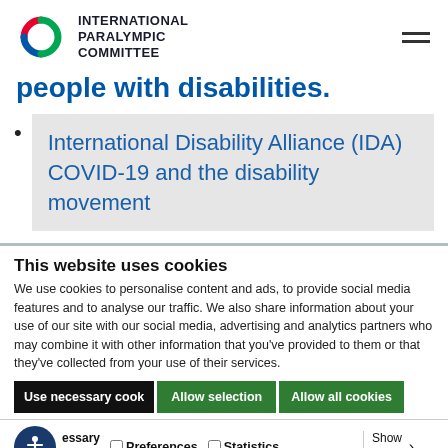INTERNATIONAL PARALYMPIC COMMITTEE
people with disabilities.
International Disability Alliance (IDA) COVID-19 and the disability movement
This website uses cookies
We use cookies to personalise content and ads, to provide social media features and to analyse our traffic. We also share information about your use of our site with our social media, advertising and analytics partners who may combine it with other information that you've provided to them or that they've collected from your use of their services.
Use necessary cook | Allow selection | Allow all cookies
Necessary | Preferences | Statistics | Marketing | Show details